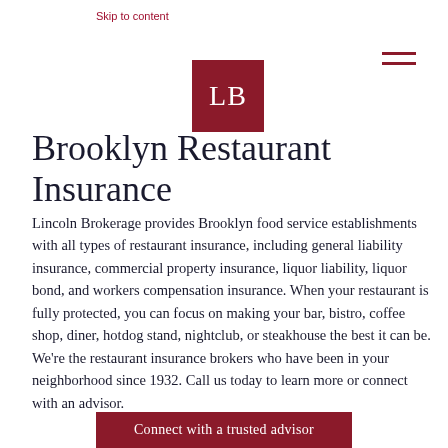Skip to content
[Figure (logo): Lincoln Brokerage logo: dark red square with white letters LB]
Brooklyn Restaurant Insurance
Lincoln Brokerage provides Brooklyn food service establishments with all types of restaurant insurance, including general liability insurance, commercial property insurance, liquor liability, liquor bond, and workers compensation insurance. When your restaurant is fully protected, you can focus on making your bar, bistro, coffee shop, diner, hotdog stand, nightclub, or steakhouse the best it can be. We’re the restaurant insurance brokers who have been in your neighborhood since 1932. Call us today to learn more or connect with an advisor.
Connect with a trusted advisor